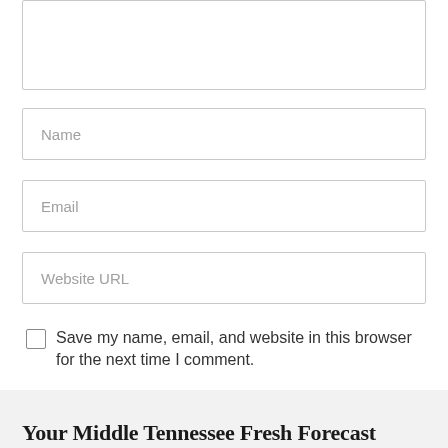[Figure (screenshot): Textarea input box (comment field), partially visible at top]
Name
Email
Website URL
Save my name, email, and website in this browser for the next time I comment.
ADD COMMENT
Your Middle Tennessee Fresh Forecast